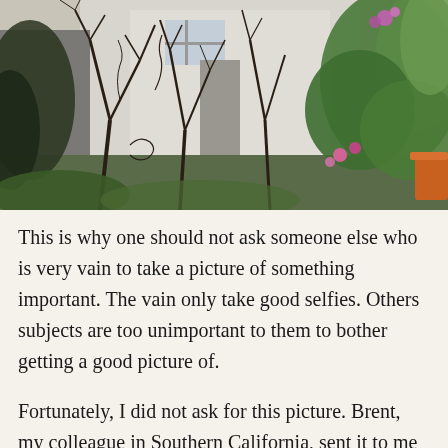[Figure (photo): A photograph of a garden scene with bare branching trees in the foreground, a white building partially visible in the background, and lush green tropical plants with pink/purple flowers on the right side. An orange terracotta pot is visible on the far right.]
This is why one should not ask someone else who is very vain to take a picture of something important. The vain only take good selfies. Others subjects are too unimportant to them to bother getting a good picture of.
Fortunately, I did not ask for this picture. Brent, my colleague in Southern California, sent it to me with